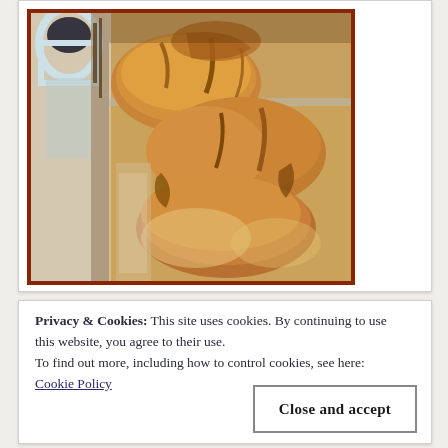[Figure (photo): Close-up photo of glazed pastry rolls or dumplings with caramel/brown sugar sauce in a baking dish, with what appears to be a glass container in the upper left corner. The dish has a rusty-orange/brown decorative border.]
Privacy & Cookies: This site uses cookies. By continuing to use this website, you agree to their use.
To find out more, including how to control cookies, see here:
Cookie Policy
[Figure (photo): Partially visible food photo at the bottom of the page, cropped off.]